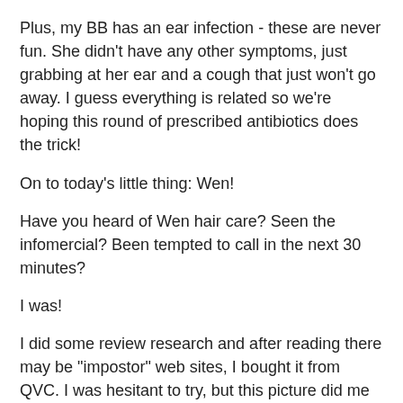Plus, my BB has an ear infection - these are never fun. She didn't have any other symptoms, just grabbing at her ear and a cough that just won't go away. I guess everything is related so we're hoping this round of prescribed antibiotics does the trick!
On to today's little thing: Wen!
Have you heard of Wen hair care? Seen the infomercial? Been tempted to call in the next 30 minutes?
I was!
I did some review research and after reading there may be "impostor" web sites, I bought it from QVC. I was hesitant to try, but this picture did me in.
[Figure (photo): A broken/missing image placeholder shown as a small icon with a white background inside a bordered box]